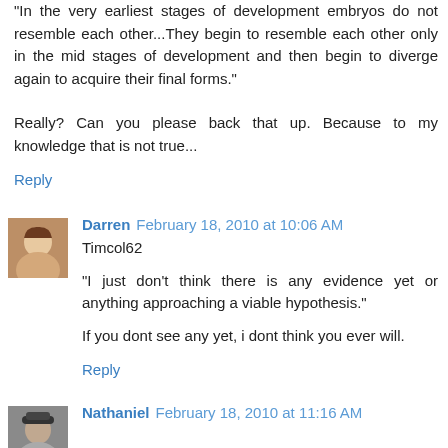"In the very earliest stages of development embryos do not resemble each other...They begin to resemble each other only in the mid stages of development and then begin to diverge again to acquire their final forms."
Really? Can you please back that up. Because to my knowledge that is not true...
Reply
Darren  February 18, 2010 at 10:06 AM
Timcol62
"I just don't think there is any evidence yet or anything approaching a viable hypothesis."
If you dont see any yet, i dont think you ever will.
Reply
Nathaniel  February 18, 2010 at 11:16 AM